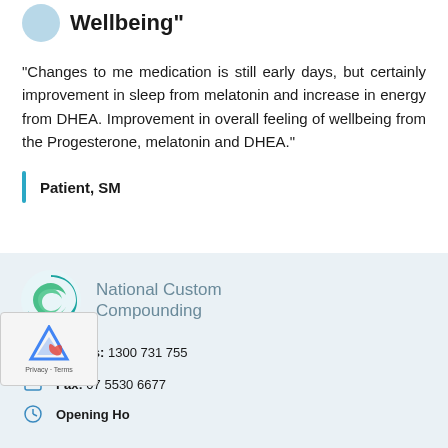[Figure (logo): Circular light blue icon, partially visible at top]
Wellbeing"
"Changes to me medication is still early days, but certainly improvement in sleep from melatonin and increase in energy from DHEA. Improvement in overall feeling of wellbeing from the Progesterone, melatonin and DHEA."
Patient, SM
[Figure (logo): National Custom Compounding logo with teal/green swirl icon]
Call Us: 1300 731 755
Fax: 07 5530 6677
Opening Ho...